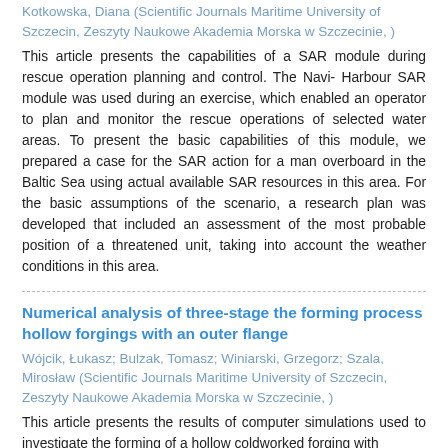Kotkowska, Diana (Scientific Journals Maritime University of Szczecin, Zeszyty Naukowe Akademia Morska w Szczecinie, )
This article presents the capabilities of a SAR module during rescue operation planning and control. The Navi- Harbour SAR module was used during an exercise, which enabled an operator to plan and monitor the rescue operations of selected water areas. To present the basic capabilities of this module, we prepared a case for the SAR action for a man overboard in the Baltic Sea using actual available SAR resources in this area. For the basic assumptions of the scenario, a research plan was developed that included an assessment of the most probable position of a threatened unit, taking into account the weather conditions in this area.
Numerical analysis of three-stage the forming process hollow forgings with an outer flange
Wójcik, Łukasz; Bulzak, Tomasz; Winiarski, Grzegorz; Szala, Mirosław (Scientific Journals Maritime University of Szczecin, Zeszyty Naukowe Akademia Morska w Szczecinie, )
This article presents the results of computer simulations used to investigate the forming of a hollow coldworked forging with